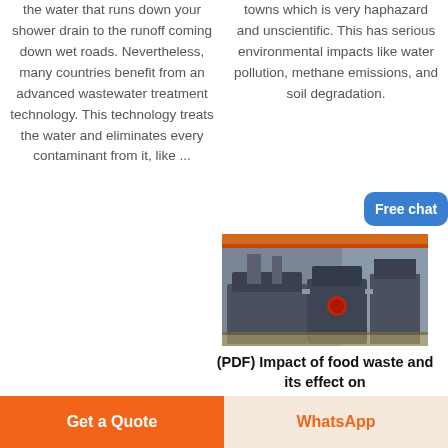the water that runs down your shower drain to the runoff coming down wet roads. Nevertheless, many countries benefit from an advanced wastewater treatment technology. This technology treats the water and eliminates every contaminant from it, like ...
towns which is very haphazard and unscientific. This has serious environmental impacts like water pollution, methane emissions, and soil degradation.
[Figure (photo): Industrial factory interior showing large heavy machinery and equipment on a factory floor with orange crane beam visible overhead]
(PDF) Impact of food waste and its effect on
Free chat
Get a Quote
WhatsApp